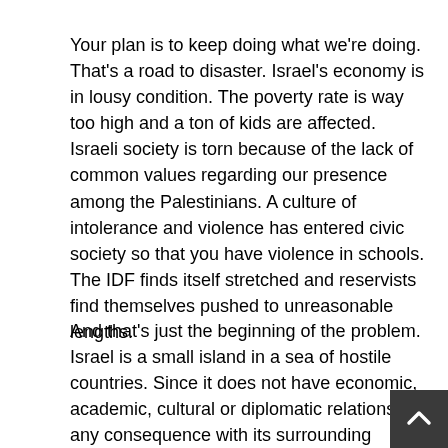Your plan is to keep doing what we're doing. That's a road to disaster. Israel's economy is in lousy condition. The poverty rate is way too high and a ton of kids are affected. Israeli society is torn because of the lack of common values regarding our presence among the Palestinians. A culture of intolerance and violence has entered civic society so that you have violence in schools. The IDF finds itself stretched and reservists find themselves pushed to unreasonable lengths.
And that's just the beginning of the problem. Israel is a small island in a sea of hostile countries. Since it does not have economic, academic, cultural or diplomatic relations of any consequence with its surrounding countries, it must rely upon the US, Europe and other trading partners for these relationships.
Except that our presence in Gaza and even the West Bank is having a serious and detrimental effect on those relationships with these countries. We are seeing a